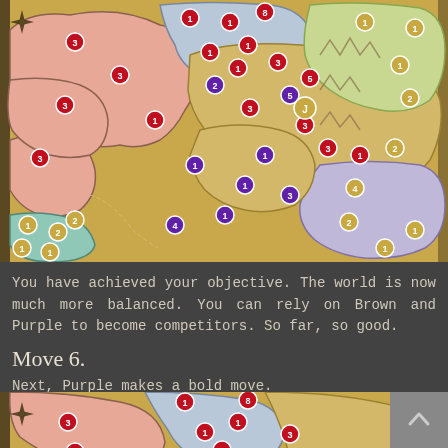[Figure (map): Fantasy strategy game world map showing colored territories (pink, blue-grey, tan/yellow, green-yellow, lavender, teal) with numbered circular tokens marking troop counts. The map shows a top-down view of continents with various faction colors.]
You have achieved your objective. The world is now much more balanced. You can rely on Brown and Purple to become competitors. So far, so good.
Move 6.
Next, Purple makes a bold move.
[Figure (map): Second fantasy strategy game world map (partial view, cropped at bottom) showing the same world with slightly different troop positions — the beginning of Move 6.]